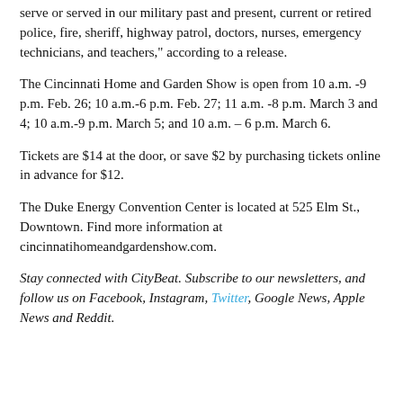serve or served in our military past and present, current or retired police, fire, sheriff, highway patrol, doctors, nurses, emergency technicians, and teachers," according to a release.
The Cincinnati Home and Garden Show is open from 10 a.m. -9 p.m. Feb. 26; 10 a.m.-6 p.m. Feb. 27; 11 a.m. -8 p.m. March 3 and 4; 10 a.m.-9 p.m. March 5; and 10 a.m. – 6 p.m. March 6.
Tickets are $14 at the door, or save $2 by purchasing tickets online in advance for $12.
The Duke Energy Convention Center is located at 525 Elm St., Downtown. Find more information at cincinnatihomeandgardenshow.com.
Stay connected with CityBeat. Subscribe to our newsletters, and follow us on Facebook, Instagram, Twitter, Google News, Apple News and Reddit.